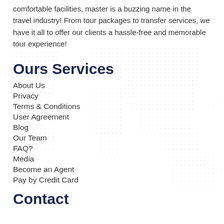comfortable facilities, master is a buzzing name in the travel industry! From tour packages to transfer services, we have it all to offer our clients a hassle-free and memorable tour experience!
Ours Services
About Us
Privacy
Terms & Conditions
User Agreement
Blog
Our Team
FAQ?
Media
Become an Agent
Pay by Credit Card
Contact